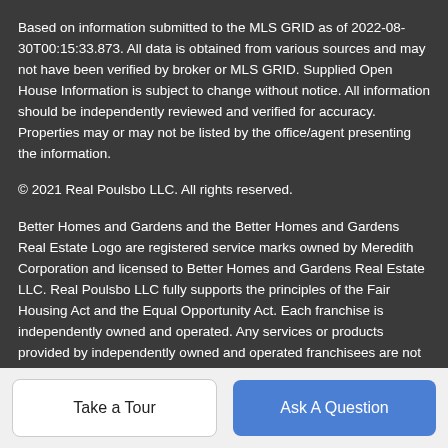Based on information submitted to the MLS GRID as of 2022-08-30T00:15:33.873. All data is obtained from various sources and may not have been verified by broker or MLS GRID. Supplied Open House Information is subject to change without notice. All information should be independently reviewed and verified for accuracy. Properties may or may not be listed by the office/agent presenting the information.
© 2021 Real Poulsbo LLC. All rights reserved.
Better Homes and Gardens and the Better Homes and Gardens Real Estate Logo are registered service marks owned by Meredith Corporation and licensed to Better Homes and Gardens Real Estate LLC. Real Poulsbo LLC fully supports the principles of the Fair Housing Act and the Equal Opportunity Act. Each franchise is independently owned and operated. Any services or products provided by independently owned and operated franchisees are not provided by, affiliated with or related to Better Homes and